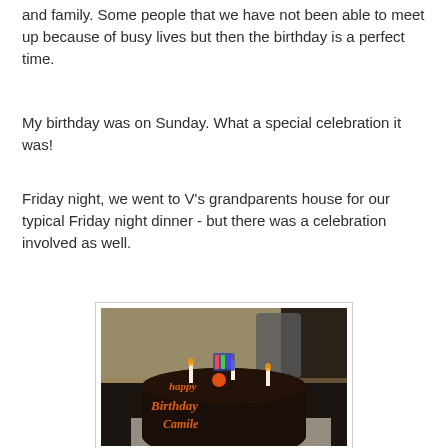and family. Some people that we have not been able to meet up because of busy lives but then the birthday is a perfect time.
My birthday was on Sunday. What a special celebration it was!
Friday night, we went to V's grandparents house for our typical Friday night dinner - but there was a celebration involved as well.
[Figure (photo): A birthday cake with chocolate frosting and orange icing decorations spelling 'Happy Birthday' with candles on top, placed on a table]